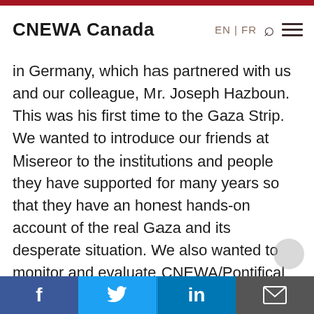CNEWA Canada   EN | FR
in Germany, which has partnered with us and our colleague, Mr. Joseph Hazboun. This was his first time to the Gaza Strip. We wanted to introduce our friends at Misereor to the institutions and people they have supported for many years so that they have an honest hands-on account of the real Gaza and its desperate situation. We also wanted to monitor and evaluate CNEWA/Pontifical Mission of
Facebook  Twitter  LinkedIn  Email